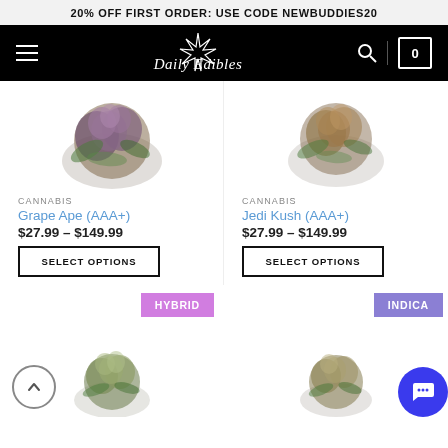20% OFF FIRST ORDER: USE CODE NEWBUDDIES20
[Figure (screenshot): Daily Edibles cannabis dispensary website header with logo, hamburger menu, search icon, and cart showing 0 items]
[Figure (photo): Cannabis bud photo for Grape Ape (AAA+) product]
CANNABIS
Grape Ape (AAA+)
$27.99 – $149.99
SELECT OPTIONS
[Figure (photo): Cannabis bud photo for Jedi Kush (AAA+) product]
CANNABIS
Jedi Kush (AAA+)
$27.99 – $149.99
SELECT OPTIONS
HYBRID
[Figure (photo): Cannabis bud photo for bottom-left product with HYBRID badge]
INDICA
[Figure (photo): Cannabis bud photo for bottom-right product with INDICA badge]